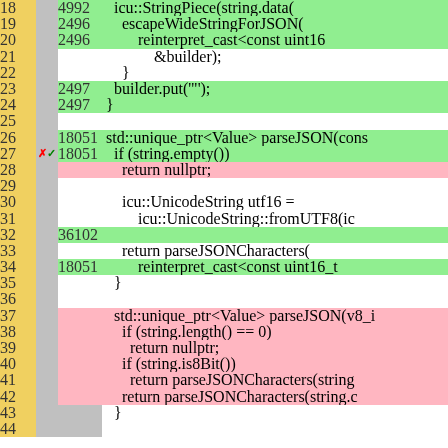[Figure (screenshot): Code coverage diff view showing C++ source lines 18-44, with line numbers in yellow column, hit counts in grey, and code colored green (covered), pink/red (uncovered), or white (not instrumented). Line 27 has a red X and green checkmark marker. Lines 37-43 are pink (uncovered new code).]